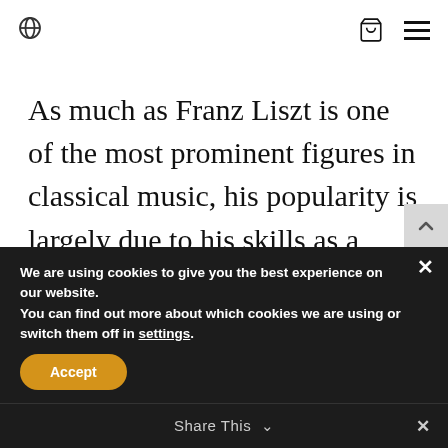globe icon | cart icon | hamburger menu
As much as Franz Liszt is one of the most prominent figures in classical music, his popularity is largely due to his skills as a pianist and to the extent to which he took the piano technique in his compositions.
We are using cookies to give you the best experience on our website.
You can find out more about which cookies we are using or switch them off in settings.
Accept
Share This ∨
✕